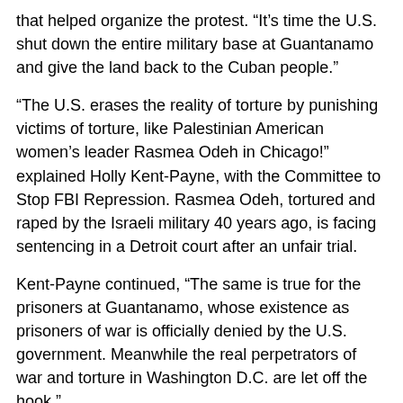that helped organize the protest. “It’s time the U.S. shut down the entire military base at Guantanamo and give the land back to the Cuban people.”
“The U.S. erases the reality of torture by punishing victims of torture, like Palestinian American women’s leader Rasmea Odeh in Chicago!” explained Holly Kent-Payne, with the Committee to Stop FBI Repression. Rasmea Odeh, tortured and raped by the Israeli military 40 years ago, is facing sentencing in a Detroit court after an unfair trial.
Kent-Payne continued, “The same is true for the prisoners at Guantanamo, whose existence as prisoners of war is officially denied by the U.S. government. Meanwhile the real perpetrators of war and torture in Washington D.C. are let off the hook.”
The demonstration began at the corner of NW 36th Street and NW 87th Avenue, where community members